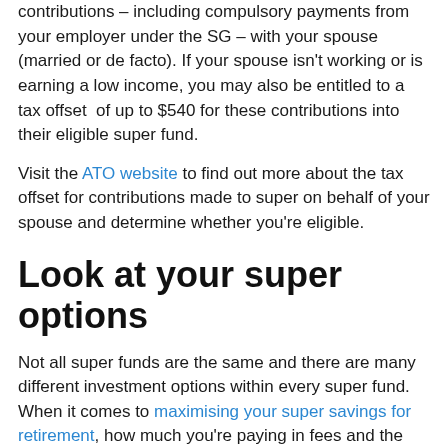contributions – including compulsory payments from your employer under the SG – with your spouse (married or de facto). If your spouse isn't working or is earning a low income, you may also be entitled to a tax offset of up to $540 for these contributions into their eligible super fund.
Visit the ATO website to find out more about the tax offset for contributions made to super on behalf of your spouse and determine whether you're eligible.
Look at your super options
Not all super funds are the same and there are many different investment options within every super fund. When it comes to maximising your super savings for retirement, how much you're paying in fees and the investment return you're